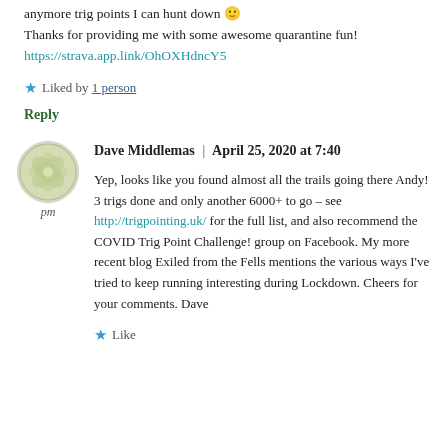anymore trig points I can hunt down 🙂 Thanks for providing me with some awesome quarantine fun! https://strava.app.link/OhOXHdncY5
★ Liked by 1 person
Reply
[Figure (illustration): Circular avatar with a light green/olive decorative pinwheel/flower pattern, representing user Dave Middlemas]
pm
Dave Middlemas | April 25, 2020 at 7:40 pm
Yep, looks like you found almost all the trails going there Andy! 3 trigs done and only another 6000+ to go – see http://trigpointing.uk/ for the full list, and also recommend the COVID Trig Point Challenge! group on Facebook. My more recent blog Exiled from the Fells mentions the various ways I've tried to keep running interesting during Lockdown. Cheers for your comments. Dave
★ Like